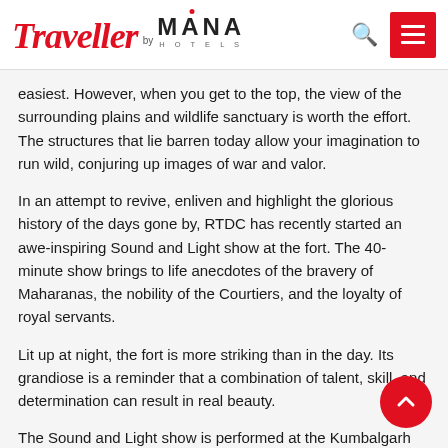Traveller by MANA HOTELS
easiest. However, when you get to the top, the view of the surrounding plains and wildlife sanctuary is worth the effort. The structures that lie barren today allow your imagination to run wild, conjuring up images of war and valor.
In an attempt to revive, enliven and highlight the glorious history of the days gone by, RTDC has recently started an awe-inspiring Sound and Light show at the fort. The 40-minute show brings to life anecdotes of the bravery of Maharanas, the nobility of the Courtiers, and the loyalty of royal servants.
Lit up at night, the fort is more striking than in the day. Its grandiose is a reminder that a combination of talent, skill, and determination can result in real beauty.
The Sound and Light show is performed at the Kumbalgarh Fort daily, starting at 18.45 hrs. The entry fee is Rs. 150 for Indians and Rs, 250 for foreigners.